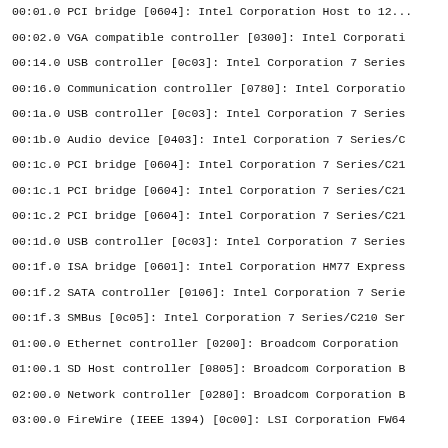00:01.0 PCI bridge [0604]: Intel Corporation Host to 12...
00:02.0 VGA compatible controller [0300]: Intel Corporati
00:14.0 USB controller [0c03]: Intel Corporation 7 Series
00:16.0 Communication controller [0780]: Intel Corporatio
00:1a.0 USB controller [0c03]: Intel Corporation 7 Series
00:1b.0 Audio device [0403]: Intel Corporation 7 Series/C
00:1c.0 PCI bridge [0604]: Intel Corporation 7 Series/C21
00:1c.1 PCI bridge [0604]: Intel Corporation 7 Series/C21
00:1c.2 PCI bridge [0604]: Intel Corporation 7 Series/C21
00:1d.0 USB controller [0c03]: Intel Corporation 7 Series
00:1f.0 ISA bridge [0601]: Intel Corporation HM77 Express
00:1f.2 SATA controller [0106]: Intel Corporation 7 Serie
00:1f.3 SMBus [0c05]: Intel Corporation 7 Series/C210 Ser
01:00.0 Ethernet controller [0200]: Broadcom Corporation
01:00.1 SD Host controller [0805]: Broadcom Corporation B
02:00.0 Network controller [0280]: Broadcom Corporation B
03:00.0 FireWire (IEEE 1394) [0c00]: LSI Corporation FW64